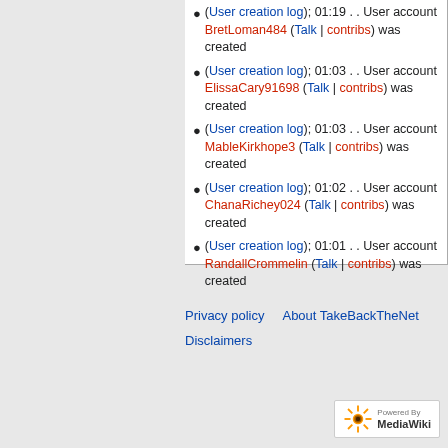(User creation log); 01:19 . . User account BretLoman484 (Talk | contribs) was created
(User creation log); 01:03 . . User account ElissaCary91698 (Talk | contribs) was created
(User creation log); 01:03 . . User account MableKirkhope3 (Talk | contribs) was created
(User creation log); 01:02 . . User account ChanaRichey024 (Talk | contribs) was created
(User creation log); 01:01 . . User account RandallCrommelin (Talk | contribs) was created
Privacy policy   About TakeBackTheNet   Disclaimers